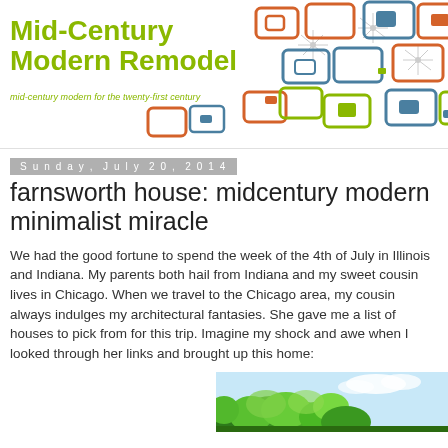Mid-Century Modern Remodel
mid-century modern for the twenty-first century
Sunday, July 20, 2014
farnsworth house: midcentury modern minimalist miracle
We had the good fortune to spend the week of the 4th of July in Illinois and Indiana. My parents both hail from Indiana and my sweet cousin lives in Chicago. When we travel to the Chicago area, my cousin always indulges my architectural fantasies. She gave me a list of houses to pick from for this trip. Imagine my shock and awe when I looked through her links and brought up this home:
[Figure (photo): Partial view of a house surrounded by lush green trees under a partly cloudy sky]